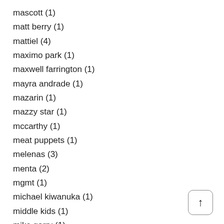mascott (1)
matt berry (1)
mattiel (4)
maximo park (1)
maxwell farrington (1)
mayra andrade (1)
mazarin (1)
mazzy star (1)
mccarthy (1)
meat puppets (1)
melenas (3)
menta (2)
mgmt (1)
michael kiwanuka (1)
middle kids (1)
mike garry (1)